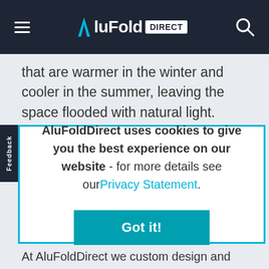AluFold Direct
that are warmer in the winter and cooler in the summer, leaving the space flooded with natural light.
AluFoldDirect uses cookies to give you the best experience on our website - for more details see our Privacy Statement.
Got it!
At AluFoldDirect we custom design and